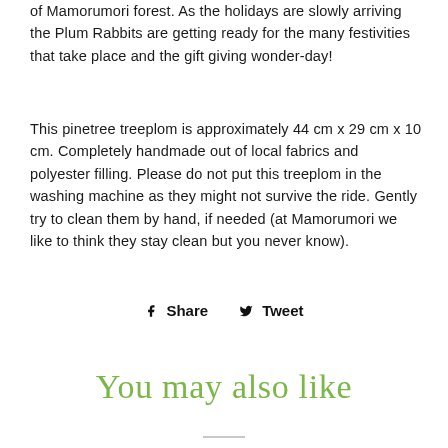of Mamorumori forest. As the holidays are slowly arriving the Plum Rabbits are getting ready for the many festivities that take place and the gift giving wonder-day!
This pinetree treeplom is approximately 44 cm x 29 cm x 10 cm. Completely handmade out of local fabrics and polyester filling. Please do not put this treeplom in the washing machine as they might not survive the ride. Gently try to clean them by hand, if needed (at Mamorumori we like to think they stay clean but you never know).
Share   Tweet
You may also like